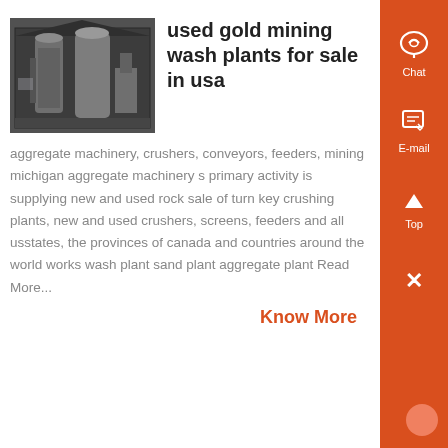[Figure (photo): Industrial mining wash plant equipment inside a large building, showing metal silos and machinery]
used gold mining wash plants for sale in usa
aggregate machinery, crushers, conveyors, feeders, mining michigan aggregate machinery s primary activity is supplying new and used rock sale of turn key crushing plants, new and used crushers, screens, feeders and all usstates, the provinces of canada and countries around the world works wash plant sand plant aggregate plant Read More...
Know More